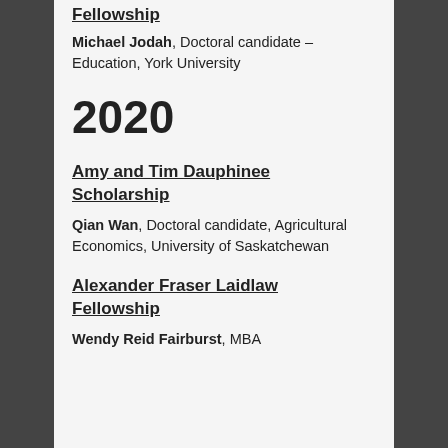Fellowship
Michael Jodah, Doctoral candidate – Education, York University
2020
Amy and Tim Dauphinee Scholarship
Qian Wan, Doctoral candidate, Agricultural Economics, University of Saskatchewan
Alexander Fraser Laidlaw Fellowship
Wendy Reid Fairburst, MBA